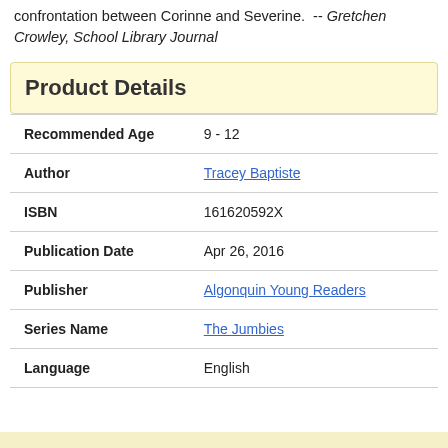confrontation between Corinne and Severine.  -- Gretchen Crowley, School Library Journal
Product Details
| Field | Value |
| --- | --- |
| Recommended Age | 9 - 12 |
| Author | Tracey Baptiste |
| ISBN | 161620592X |
| Publication Date | Apr 26, 2016 |
| Publisher | Algonquin Young Readers |
| Series Name | The Jumbies |
| Language | English |